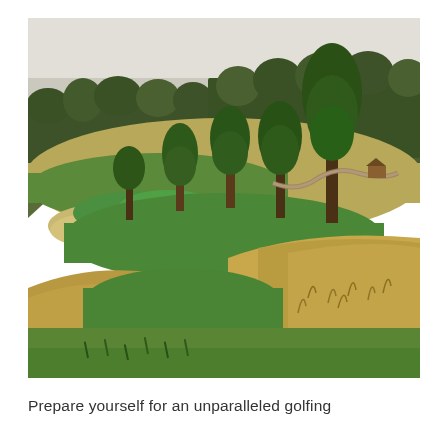[Figure (photo): Aerial view of a golf course set in a mountain valley. Lush green fairways and putting greens with sand bunkers in the foreground. Golden wild grasses line the rough areas. Tall evergreen trees dot the course and dense pine forest covers the mountain slopes in the background. A winding path or cart trail is visible between the trees. Overcast sky above the mountain ridge.]
Prepare yourself for an unparalleled golfing